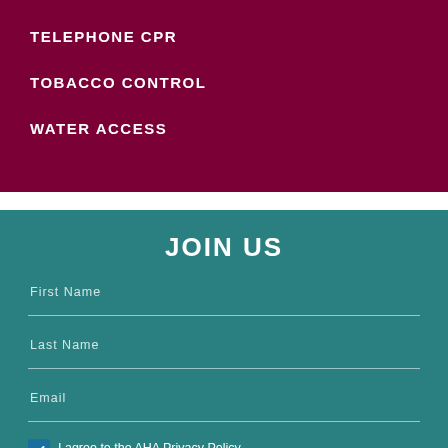TELEPHONE CPR
TOBACCO CONTROL
WATER ACCESS
JOIN US
First Name
Last Name
Email
I agree to the AHA Privacy Policy and Terms and Conditions